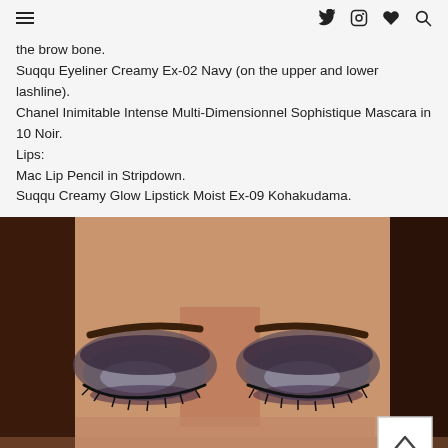[hamburger menu] [twitter] [instagram] [heart] [search]
the brow bone.
Suqqu Eyeliner Creamy Ex-02 Navy (on the upper and lower lashline).
Chanel Inimitable Intense Multi-Dimensionnel Sophistique Mascara in 10 Noir.
Lips:
Mac Lip Pencil in Stripdown.
Suqqu Creamy Glow Lipstick Moist Ex-09 Kohakudama.
[Figure (photo): Close-up photo of a woman with eyes closed showing smoky eye makeup with dark grey/purple eyeshadow and dramatic lashes]